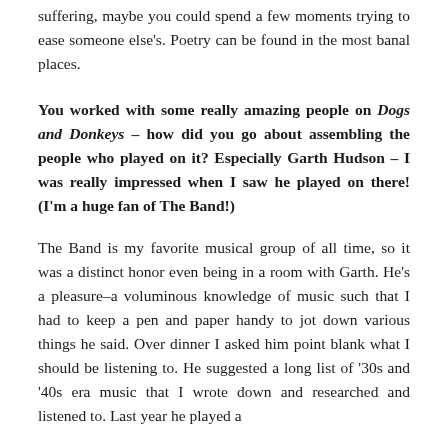suffering, maybe you could spend a few moments trying to ease someone else's. Poetry can be found in the most banal places.
You worked with some really amazing people on Dogs and Donkeys – how did you go about assembling the people who played on it? Especially Garth Hudson – I was really impressed when I saw he played on there! (I'm a huge fan of The Band!)
The Band is my favorite musical group of all time, so it was a distinct honor even being in a room with Garth. He's a pleasure–a voluminous knowledge of music such that I had to keep a pen and paper handy to jot down various things he said. Over dinner I asked him point blank what I should be listening to. He suggested a long list of '30s and '40s era music that I wrote down and researched and listened to. Last year he played a